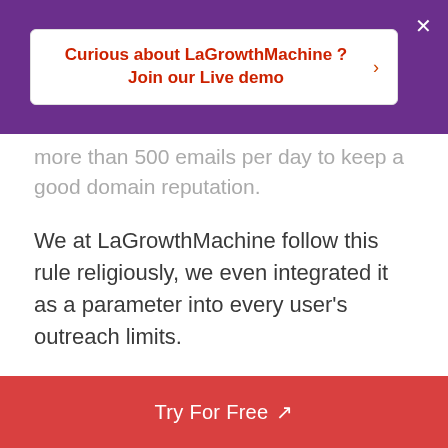Curious about LaGrowthMachine ? Join our Live demo
more than 500 emails per day to keep a good domain reputation.
We at LaGrowthMachine follow this rule religiously, we even integrated it as a parameter into every user's outreach limits.
Don't worry though, it is still an adjustable parameter, as you can see in this screenshot. The more emails you set it to send, the riskier it gets for your email domain
Try For Free ↗